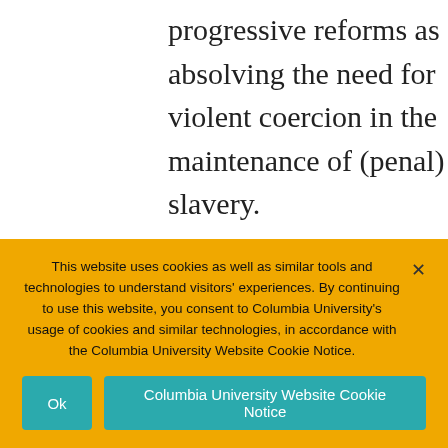progressive reforms as absolving the need for violent coercion in the maintenance of (penal) slavery. At the same time, the prison-industrial complex deploys legitimation strategies that depart from amelioration
This website uses cookies as well as similar tools and technologies to understand visitors' experiences. By continuing to use this website, you consent to Columbia University's usage of cookies and similar technologies, in accordance with the Columbia University Website Cookie Notice.